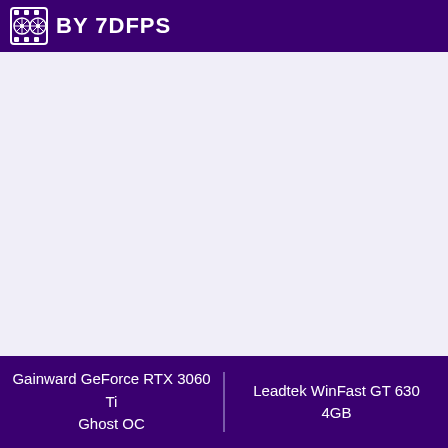BY 7DFPS
Gainward GeForce RTX 3060 Ti Ghost OC | Leadtek WinFast GT 630 4GB